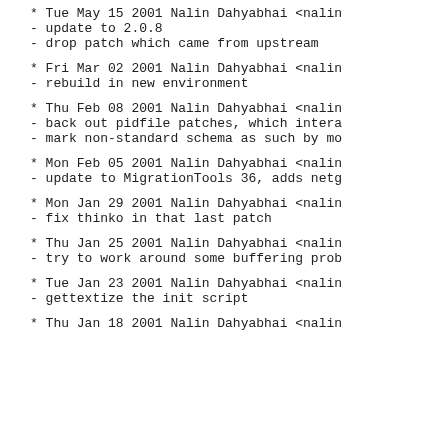* Tue May 15 2001 Nalin Dahyabhai <nalin
- update to 2.0.8
- drop patch which came from upstream
* Fri Mar 02 2001 Nalin Dahyabhai <nalin
- rebuild in new environment
* Thu Feb 08 2001 Nalin Dahyabhai <nalin
- back out pidfile patches, which intera
- mark non-standard schema as such by mo
* Mon Feb 05 2001 Nalin Dahyabhai <nalin
- update to MigrationTools 36, adds netg
* Mon Jan 29 2001 Nalin Dahyabhai <nalin
- fix thinko in that last patch
* Thu Jan 25 2001 Nalin Dahyabhai <nalin
- try to work around some buffering prob
* Tue Jan 23 2001 Nalin Dahyabhai <nalin
- gettextize the init script
* Thu Jan 18 2001 Nalin Dahyabhai <nalin